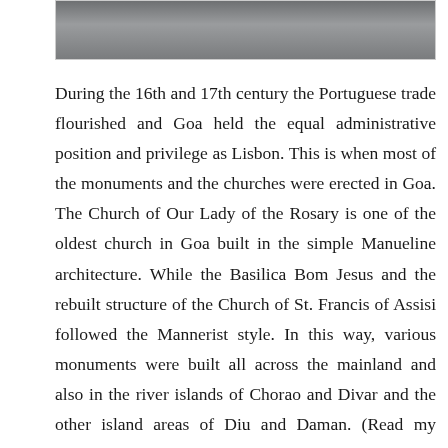[Figure (photo): Partial photo visible at top of page, appears to show a street or outdoor scene.]
During the 16th and 17th century the Portuguese trade flourished and Goa held the equal administrative position and privilege as Lisbon. This is when most of the monuments and the churches were erected in Goa. The Church of Our Lady of the Rosary is one of the oldest church in Goa built in the simple Manueline architecture. While the Basilica Bom Jesus and the rebuilt structure of the Church of St. Francis of Assisi followed the Mannerist style. In this way, various monuments were built all across the mainland and also in the river islands of Chorao and Divar and the other island areas of Diu and Daman. (Read my stories on the river islands of Goa and the island of Diu.)